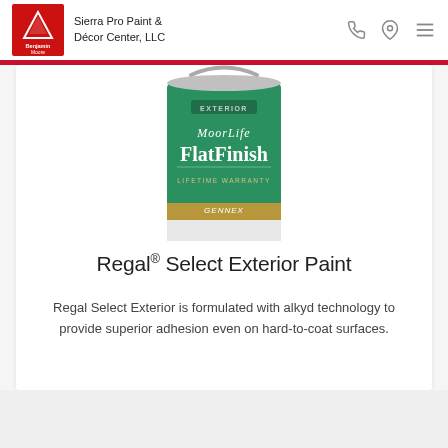Sierra Pro Paint & Décor Center, LLC
[Figure (photo): Benjamin Moore MoorLife FlatFinish Exterior paint can with green label, Lifetime Warranty, GENNEX technology]
Regal® Select Exterior Paint
Regal Select Exterior is formulated with alkyd technology to provide superior adhesion even on hard-to-coat surfaces.